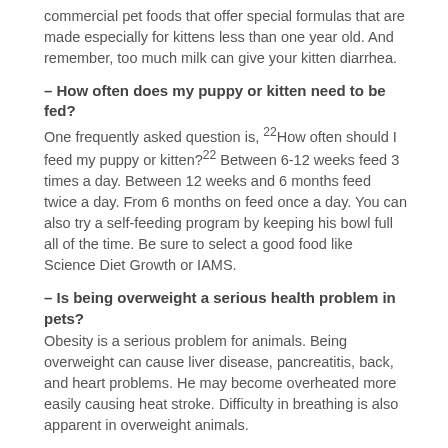commercial pet foods that offer special formulas that are made especially for kittens less than one year old. And remember, too much milk can give your kitten diarrhea.
– How often does my puppy or kitten need to be fed?
One frequently asked question is, 22How often should I feed my puppy or kitten?22 Between 6-12 weeks feed 3 times a day. Between 12 weeks and 6 months feed twice a day. From 6 months on feed once a day. You can also try a self-feeding program by keeping his bowl full all of the time. Be sure to select a good food like Science Diet Growth or IAMS.
– Is being overweight a serious health problem in pets?
Obesity is a serious problem for animals. Being overweight can cause liver disease, pancreatitis, back, and heart problems. He may become overheated more easily causing heat stroke. Difficulty in breathing is also apparent in overweight animals.